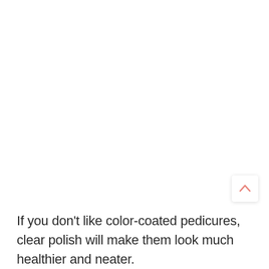[Figure (other): Scroll-to-top button with a pink/salmon upward chevron arrow on a white rounded rectangle card, positioned in the lower-right area of the page.]
If you don't like color-coated pedicures, clear polish will make them look much healthier and neater.